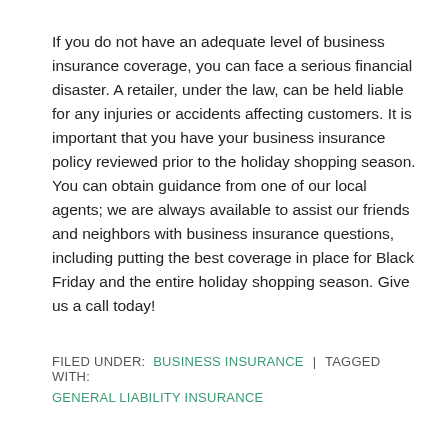If you do not have an adequate level of business insurance coverage, you can face a serious financial disaster. A retailer, under the law, can be held liable for any injuries or accidents affecting customers. It is important that you have your business insurance policy reviewed prior to the holiday shopping season. You can obtain guidance from one of our local agents; we are always available to assist our friends and neighbors with business insurance questions, including putting the best coverage in place for Black Friday and the entire holiday shopping season. Give us a call today!
FILED UNDER: BUSINESS INSURANCE | TAGGED WITH: GENERAL LIABILITY INSURANCE